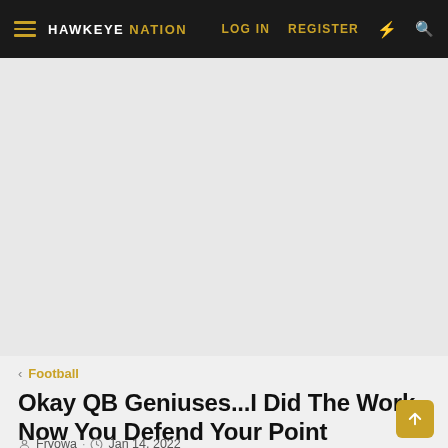HAWKEYE NATION  LOG IN  REGISTER
[Figure (other): Advertisement / empty gray area placeholder]
< Football
Okay QB Geniuses...I Did The Work, Now You Defend Your Point
Fryowa · Jan 14, 2022